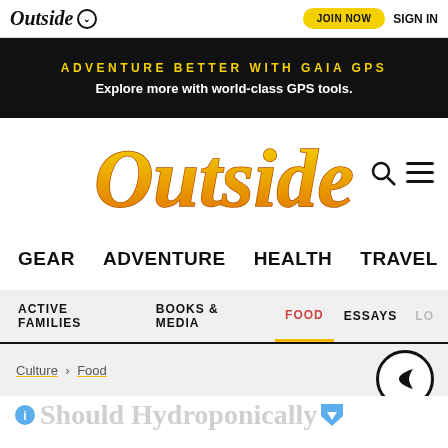Outside  JOIN NOW  SIGN IN
ADVENTURE BETTER WITH GAIA GPS
Explore more with world-class GPS tools.
[Figure (logo): Outside magazine logo in stylized gold italic serif font]
GEAR
ADVENTURE
HEALTH
TRAVEL
ACTIVE FAMILIES
BOOKS & MEDIA
FOOD
ESSAYS
Culture > Food
Should Hydroponically Grown Produce...